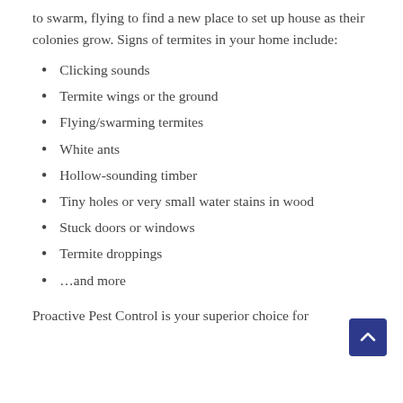to swarm, flying to find a new place to set up house as their colonies grow. Signs of termites in your home include:
Clicking sounds
Termite wings or the ground
Flying/swarming termites
White ants
Hollow-sounding timber
Tiny holes or very small water stains in wood
Stuck doors or windows
Termite droppings
…and more
Proactive Pest Control is your superior choice for termite inspections on the Sunshine Coast. We